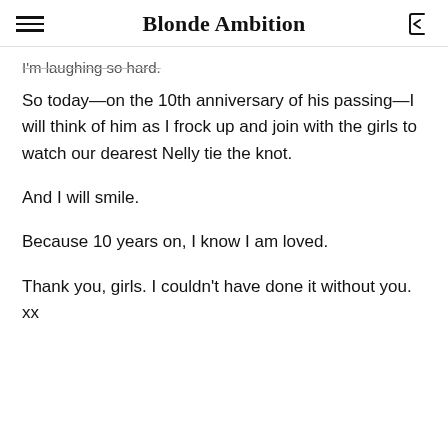Blonde Ambition
I'm laughing so hard.
So today—on the 10th anniversary of his passing—I will think of him as I frock up and join with the girls to watch our dearest Nelly tie the knot.
And I will smile.
Because 10 years on, I know I am loved.
Thank you, girls. I couldn't have done it without you. xx